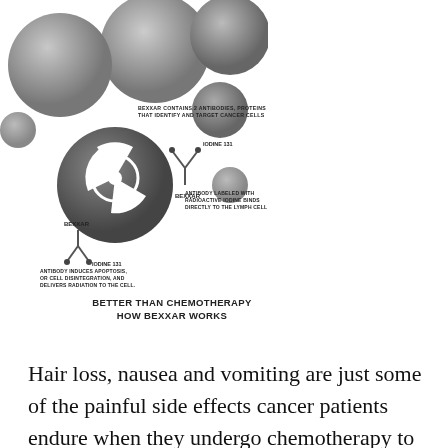[Figure (illustration): Medical illustration titled 'Better Than Chemotherapy – How Bexxar Works'. Shows large gray spherical cancer/lymph cells at top. In the middle section: a dark sphere labeled 'Cancerous Lymph Cell' with a radiation symbol. Two antibody figures labeled 'Bexxar' with 'Iodine 131' tags are shown binding to the cell. Text annotations explain: 'Bexxar contains 2 antibodies, proteins that identify and target cancer cells', 'Antibody labeled with radioactive iodine binds directly to the lymph cell', 'Antibody induces apoptosis, or cell disintegration, and delivers radiation to the cell.']
BETTER THAN CHEMOTHERAPY
HOW BEXXAR WORKS
Hair loss, nausea and vomiting are just some of the painful side effects cancer patients endure when they undergo chemotherapy to...